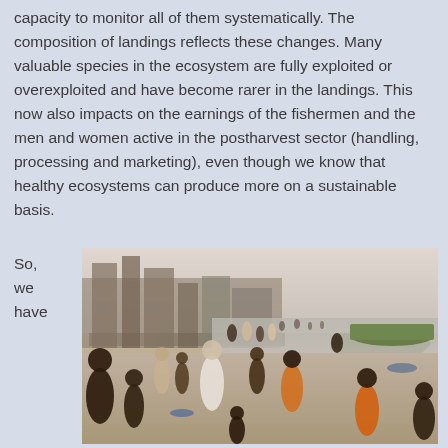capacity to monitor all of them systematically. The composition of landings reflects these changes. Many valuable species in the ecosystem are fully exploited or overexploited and have become rarer in the landings. This now also impacts on the earnings of the fishermen and the men and women active in the postharvest sector (handling, processing and marketing), even though we know that healthy ecosystems can produce more on a sustainable basis.
So, we have
[Figure (photo): A busy coastal fishing scene showing a crowded beach with many people including children and adults. Buildings are visible in the background. There is water, a sandy shore, and a green boat visible on the right side. People appear to be engaged in fishing-related activities along the shoreline.]